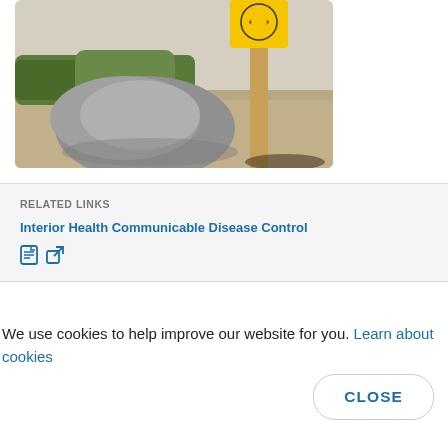[Figure (photo): Outdoor scene with a large grey rock on a gravel/dirt ground with green shrubs behind it, and a wooden post on the right side with a yellow and red circular sign at the top.]
RELATED LINKS
Interior Health Communicable Disease Control
We use cookies to help improve our website for you. Learn about cookies
CLOSE